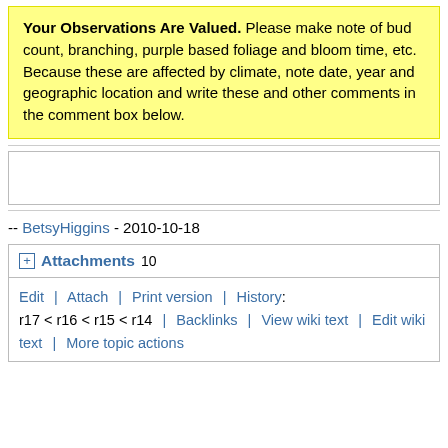Your Observations Are Valued. Please make note of bud count, branching, purple based foliage and bloom time, etc. Because these are affected by climate, note date, year and geographic location and write these and other comments in the comment box below.
-- BetsyHiggins - 2010-10-18
Attachments 10
Edit | Attach | Print version | History: r17 < r16 < r15 < r14 | Backlinks | View wiki text | Edit wiki text | More topic actions